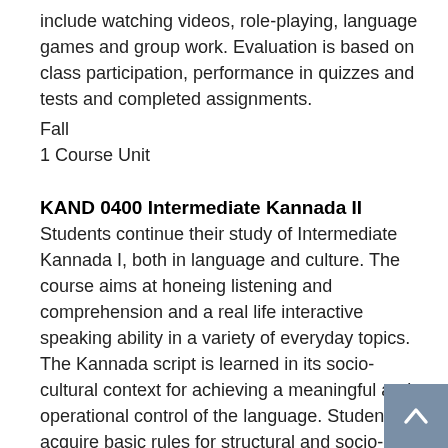include watching videos, role-playing, language games and group work. Evaluation is based on class participation, performance in quizzes and tests and completed assignments.
Fall
1 Course Unit
KAND 0400 Intermediate Kannada II
Students continue their study of Intermediate Kannada I, both in language and culture. The course aims at honeing listening and comprehension and a real life interactive speaking ability in a variety of everyday topics. The Kannada script is learned in its socio-cultural context for achieving a meaningful and operational control of the language. Students acquire basic rules for structural and socio-cultural appropriateness. Students learn vocabulary related to a variety of topics during the semester. Class activities include watching videos, role-playing, language games and group work. Evaluation is